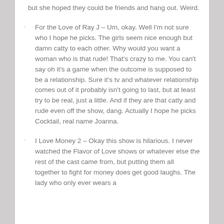but she hoped they could be friends and hang out. Weird.
For the Love of Ray J – Um, okay. Well I'm not sure who I hope he picks. The girls seem nice enough but damn catty to each other. Why would you want a woman who is that rude! That's crazy to me. You can't say oh it's a game when the outcome is supposed to be a relationship. Sure it's tv and whatever relationship comes out of it probably isn't going to last, but at least try to be real, just a little. And if they are that catty and rude even off the show, dang. Actually I hope he picks Cocktail, real name Joanna.
I Love Money 2 – Okay this show is hilarious. I never watched the Flavor of Love shows or whatever else the rest of the cast came from, but putting them all together to fight for money does get good laughs. The lady who only ever wears a